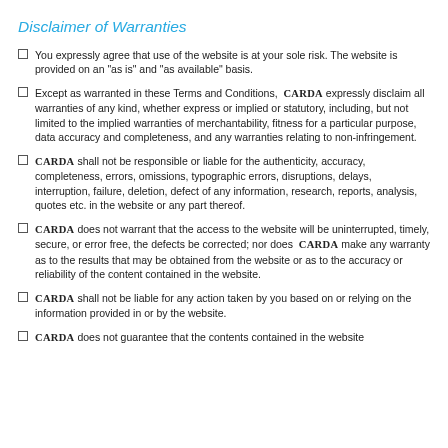Disclaimer of Warranties
You expressly agree that use of the website is at your sole risk. The website is provided on an "as is" and "as available" basis.
Except as warranted in these Terms and Conditions, CARDA expressly disclaim all warranties of any kind, whether express or implied or statutory, including, but not limited to the implied warranties of merchantability, fitness for a particular purpose, data accuracy and completeness, and any warranties relating to non-infringement.
CARDA shall not be responsible or liable for the authenticity, accuracy, completeness, errors, omissions, typographic errors, disruptions, delays, interruption, failure, deletion, defect of any information, research, reports, analysis, quotes etc. in the website or any part thereof.
CARDA does not warrant that the access to the website will be uninterrupted, timely, secure, or error free, the defects be corrected; nor does CARDA make any warranty as to the results that may be obtained from the website or as to the accuracy or reliability of the content contained in the website.
CARDA shall not be liable for any action taken by you based on or relying on the information provided in or by the website.
CARDA does not guarantee that the contents contained in the website